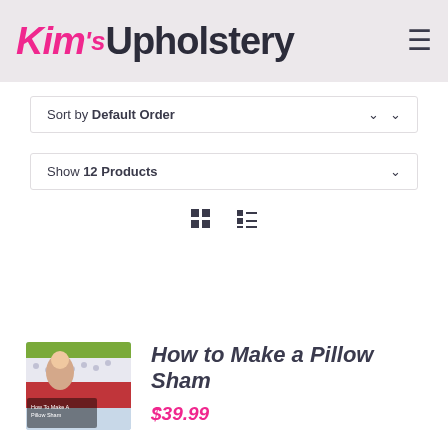Kim's Upholstery
Sort by Default Order
Show 12 Products
[Figure (screenshot): Thumbnail image of a woman in front of quilted fabric panels with text 'How To Make A Pillow Sham']
How to Make a Pillow Sham
$39.99